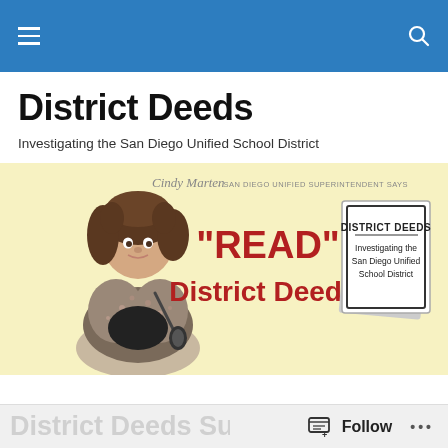Navigation bar with hamburger menu and search icon
District Deeds
Investigating the San Diego Unified School District
[Figure (illustration): Banner illustration showing a cartoon woman (Cindy Marten) holding a microphone with text 'Cindy Marten - SAN DIEGO UNIFIED SUPERINTENDENT SAYS' and large red text '"READ" District Deeds!' alongside a book graphic labeled 'DISTRICT DEEDS Investigating the San Diego Unified School District']
District Deeds Sunday   Follow ...